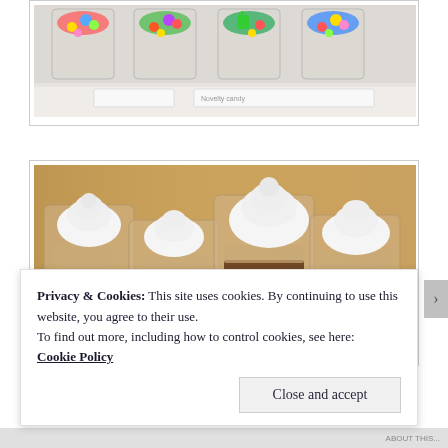[Figure (photo): Photo of colorful candy cups in a display case with a label card]
[Figure (photo): Photo of ice cream cone cups with whipped cream topping and colorful candy (Skittles) at the base, displayed in a row]
Privacy & Cookies: This site uses cookies. By continuing to use this website, you agree to their use.
To find out more, including how to control cookies, see here: Cookie Policy
Close and accept